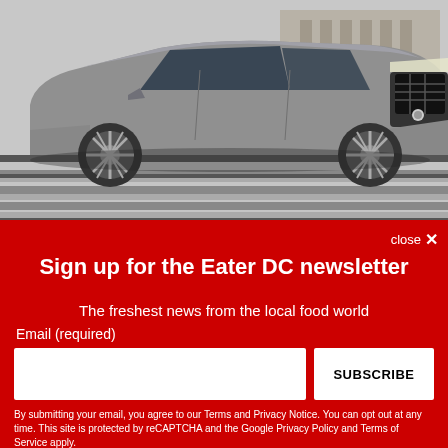[Figure (photo): Silver/grey Infiniti QX60 SUV driving on a city street with crosswalk stripes visible. Urban background with buildings.]
close ✕
Sign up for the Eater DC newsletter
The freshest news from the local food world
Email (required)
SUBSCRIBE
By submitting your email, you agree to our Terms and Privacy Notice. You can opt out at any time. This site is protected by reCAPTCHA and the Google Privacy Policy and Terms of Service apply.